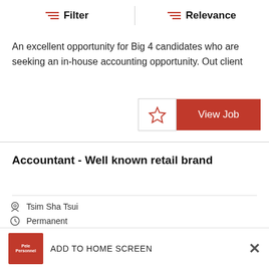Filter | Relevance
An excellent opportunity for Big 4 candidates who are seeking an in-house accounting opportunity. Out client
Accountant - Well known retail brand
Tsim Sha Tsui
Permanent
HK$25,000 - HK$35,000
ADD TO HOME SCREEN